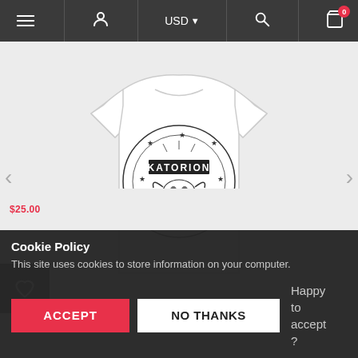≡  [user icon]  USD ▼  [search icon]  [cart icon] 0
[Figure (photo): White t-shirt with circular graphic design reading KATORION surrounded by stars and a bull skull motif]
Cookie Policy
This site uses cookies to store information on your computer.
Happy to accept ?
ACCEPT
NO THANKS
N  T  $25.00